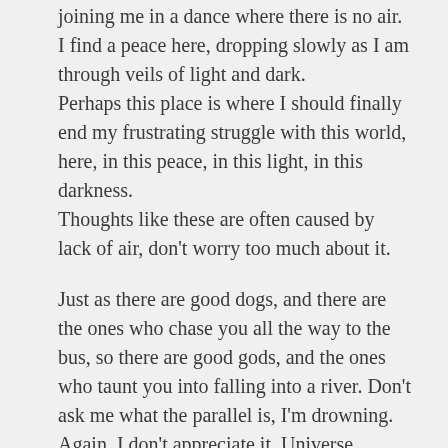joining me in a dance where there is no air. I find a peace here, dropping slowly as I am through veils of light and dark. Perhaps this place is where I should finally end my frustrating struggle with this world, here, in this peace, in this light, in this darkness. Thoughts like these are often caused by lack of air, don't worry too much about it.
Just as there are good dogs, and there are the ones who chase you all the way to the bus, so there are good gods, and the ones who taunt you into falling into a river. Don't ask me what the parallel is, I'm drowning. Again. I don't appreciate it, Universe. Singe, you who are my Great One, I wish you had the power to keep me from getting waterlogged so often.